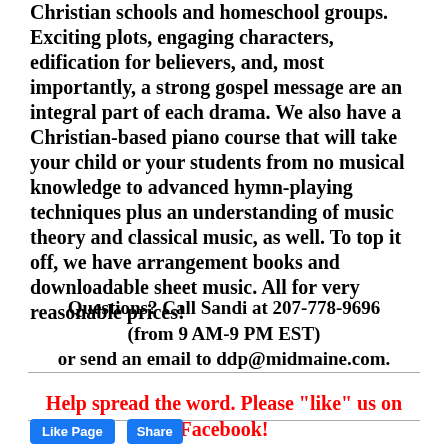Christian schools and homeschool groups. Exciting plots, engaging characters, edification for believers, and, most importantly, a strong gospel message are an integral part of each drama.  We also have a Christian-based piano course that will take your child or your students from no musical knowledge to advanced hymn-playing techniques plus an understanding of music theory and classical music, as well. To top it off, we have arrangement books and downloadable sheet music. All for very reasonable prices!
Questions? Call Sandi at 207-778-9696 (from 9 AM-9 PM EST) or send an email to ddp@midmaine.com.
Help spread the word. Please "like" us on Facebook!